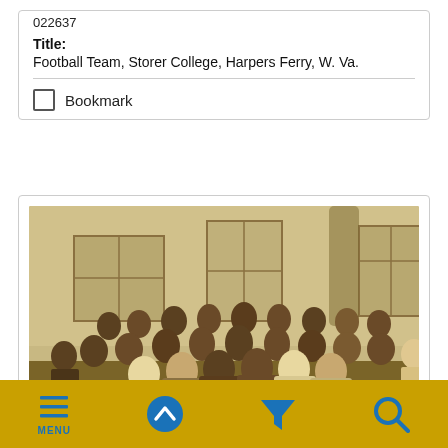022637
Title: Football Team, Storer College, Harpers Ferry, W. Va.
Bookmark
[Figure (photo): Sepia-toned historical group photograph of a football team and others posed in front of a stone building at Storer College, Harpers Ferry, W. Va. Multiple rows of people seated and standing.]
MENU (navigation bar with menu, up, filter, and search icons)